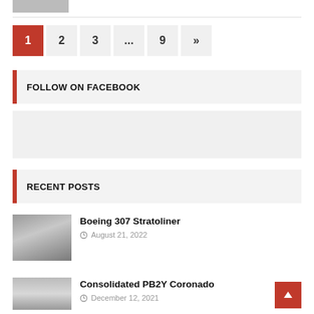[Figure (photo): Small thumbnail image at top left]
1 2 3 ... 9 »
FOLLOW ON FACEBOOK
[Figure (other): Facebook widget placeholder box]
RECENT POSTS
[Figure (photo): Black and white photo of Boeing 307 Stratoliner on tarmac with figure saluting]
Boeing 307 Stratoliner
August 21, 2022
[Figure (photo): Black and white photo of Consolidated PB2Y Coronado aircraft in flight]
Consolidated PB2Y Coronado
December 12, 2021